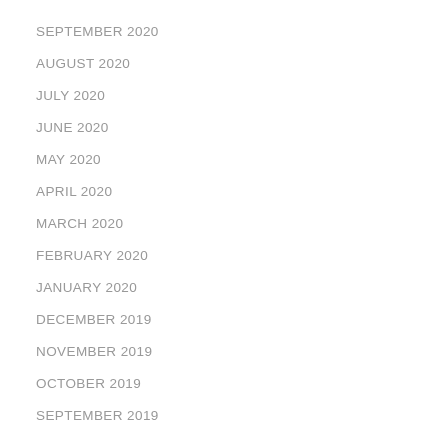SEPTEMBER 2020
AUGUST 2020
JULY 2020
JUNE 2020
MAY 2020
APRIL 2020
MARCH 2020
FEBRUARY 2020
JANUARY 2020
DECEMBER 2019
NOVEMBER 2019
OCTOBER 2019
SEPTEMBER 2019
CATEGORIES